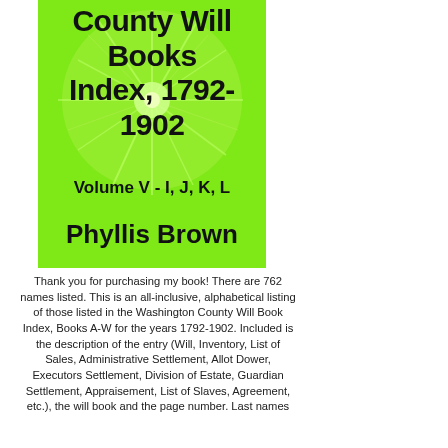[Figure (illustration): Book cover with bright green background, decorative starburst/dandelion pattern, title text 'County Will Books Index, 1792-1902', subtitle 'Volume V - I, J, K, L', and author name 'Phyllis Brown' at bottom]
Thank you for purchasing my book! There are 762 names listed. This is an all-inclusive, alphabetical listing of those listed in the Washington County Will Book Index, Books A-W for the years 1792-1902. Included is the description of the entry (Will, Inventory, List of Sales, Administrative Settlement, Allot Dower, Executors Settlement, Division of Estate, Guardian Settlement, Appraisement, List of Slaves, Agreement, etc.), the will book and the page number. Last names